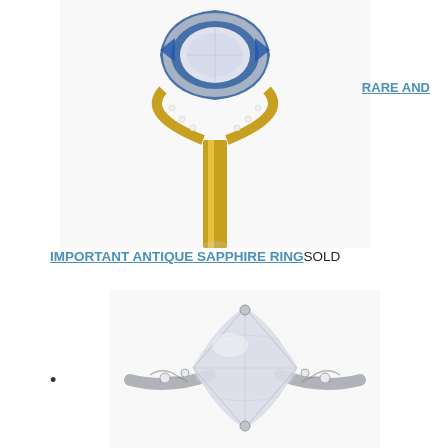[Figure (photo): Side view of an antique sapphire ring with blue sapphires, diamonds, platinum and yellow gold setting, shown against white background]
RARE AND
IMPORTANT ANTIQUE SAPPHIRE RINGSOLD
•
[Figure (photo): Top-down view of an antique marquise diamond ring in a platinum filigree setting with small accent diamonds on the shoulders]